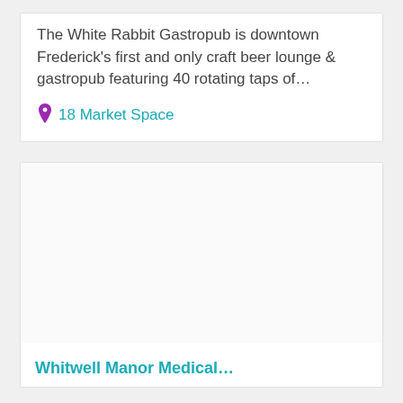The White Rabbit Gastropub is downtown Frederick's first and only craft beer lounge & gastropub featuring 40 rotating taps of...
18 Market Space
[Figure (photo): Large blank/white image area for a second listing card]
Whitwell Manor Medical...